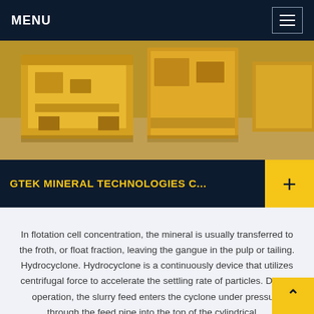MENU
[Figure (photo): Yellow industrial mineral processing machinery (crushers/vibrating screens) on a concrete floor in a warehouse or factory setting.]
GTEK MINERAL TECHNOLOGIES C...
In flotation cell concentration, the mineral is usually transferred to the froth, or float fraction, leaving the gangue in the pulp or tailing. Hydrocyclone. Hydrocyclone is a continuously device that utilizes centrifugal force to accelerate the settling rate of particles. During operation, the slurry feed enters the cyclone under pressure through the feed pipe into the top of the cylindrical ...